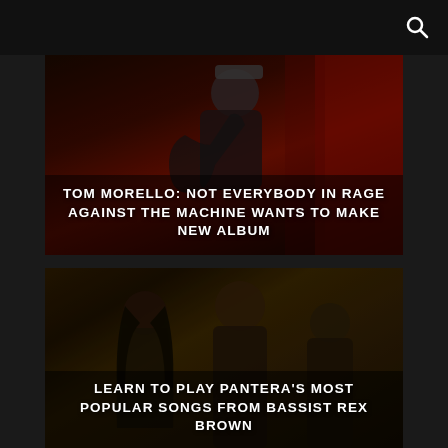[Figure (photo): Tom Morello playing guitar on stage, wearing a 'UNITE' cap, against a red curtain backdrop. Title overlay: TOM MORELLO: NOT EVERYBODY IN RAGE AGAINST THE MACHINE WANTS TO MAKE NEW ALBUM]
TOM MORELLO: NOT EVERYBODY IN RAGE AGAINST THE MACHINE WANTS TO MAKE NEW ALBUM
[Figure (photo): Pantera band members photographed in sepia/dark tones. Title overlay: LEARN TO PLAY PANTERA'S MOST POPULAR SONGS FROM BASSIST REX BROWN]
LEARN TO PLAY PANTERA'S MOST POPULAR SONGS FROM BASSIST REX BROWN